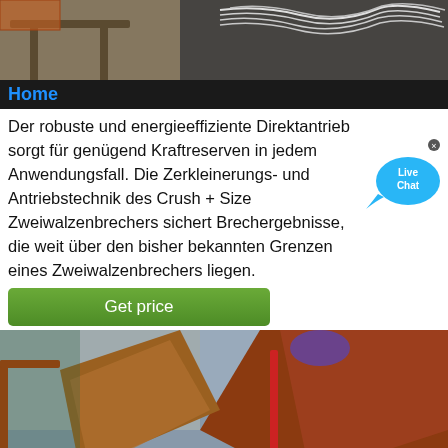[Figure (photo): Top photo showing industrial machinery/cables in a construction or mining setting]
Home
Der robuste und energieeffiziente Direktantrieb sorgt für genügend Kraftreserven in jedem Anwendungsfall. Die Zerkleinerungs- und Antriebstechnik des Crush + Size Zweiwalzenbrechers sichert Brechergebnisse, die weit über den bisher bekannten Grenzen eines Zweiwalzenbrechers liegen.
[Figure (other): Live Chat widget bubble icon]
Get price
[Figure (photo): Bottom photo showing industrial crushing/screening equipment with metal chutes and gravel]